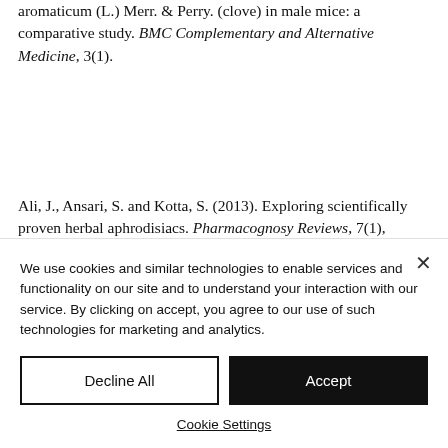aromaticum (L.) Merr. & Perry. (clove) in male mice: a comparative study. BMC Complementary and Alternative Medicine, 3(1).
Ali, J., Ansari, S. and Kotta, S. (2013). Exploring scientifically proven herbal aphrodisiacs. Pharmacognosy Reviews, 7(1), p.1.Bashmakov, Y. and Petyaev, I. (2017). Dark Chocolate: Opportunity for an Alliance between Medical
We use cookies and similar technologies to enable services and functionality on our site and to understand your interaction with our service. By clicking on accept, you agree to our use of such technologies for marketing and analytics.